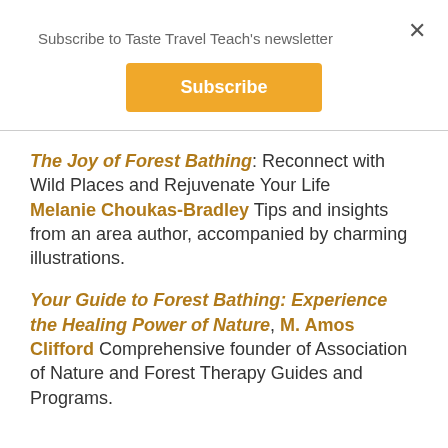Subscribe to Taste Travel Teach's newsletter
Subscribe
The Joy of Forest Bathing: Reconnect with Wild Places and Rejuvenate Your Life Melanie Choukas-Bradley Tips and insights from an area author, accompanied by charming illustrations.
Your Guide to Forest Bathing: Experience the Healing Power of Nature, M. Amos Clifford Comprehensive founder of Association of Nature and Forest Therapy Guides and Programs.